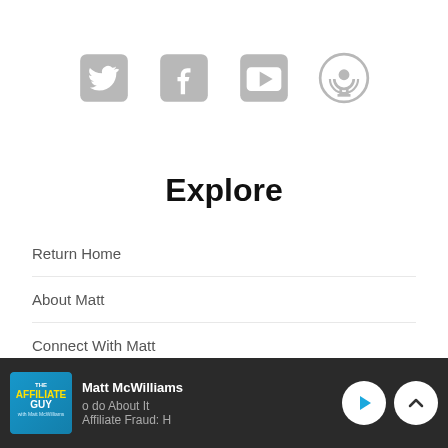[Figure (infographic): Four social media icon buttons in gray: Twitter bird, Facebook f, YouTube play rectangle, Podcast signal icon]
Explore
Return Home
About Matt
Connect With Matt
Careers / Job Openings
Matt McWilliams | o do About It | Affiliate Fraud: H